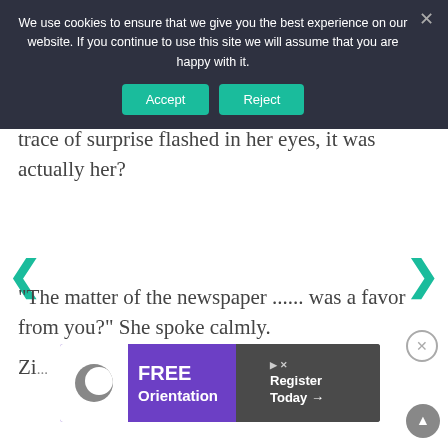We use cookies to ensure that we give you the best experience on our website. If you continue to use this site we will assume that you are happy with it.
trace of surprise flashed in her eyes, it was actually her?
"The matter of the newspaper ...... was a favor from you?" She spoke calmly.
Zi... ed dipr...
[Figure (screenshot): Kumon Free Orientation advertisement banner with purple and dark background]